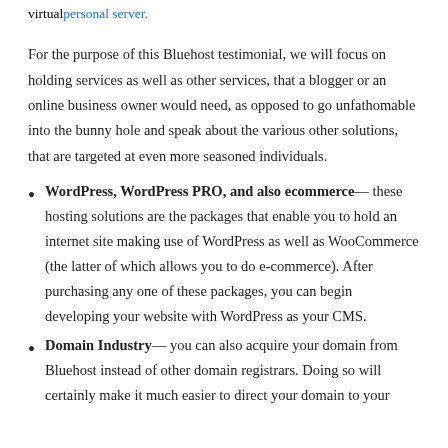virtual personal server.
For the purpose of this Bluehost testimonial, we will focus on holding services as well as other services, that a blogger or an online business owner would need, as opposed to go unfathomable into the bunny hole and speak about the various other solutions, that are targeted at even more seasoned individuals.
WordPress, WordPress PRO, and also ecommerce— these hosting solutions are the packages that enable you to hold an internet site making use of WordPress as well as WooCommerce (the latter of which allows you to do e-commerce). After purchasing any one of these packages, you can begin developing your website with WordPress as your CMS.
Domain Industry— you can also acquire your domain from Bluehost instead of other domain registrars. Doing so will certainly make it much easier to direct your domain to your